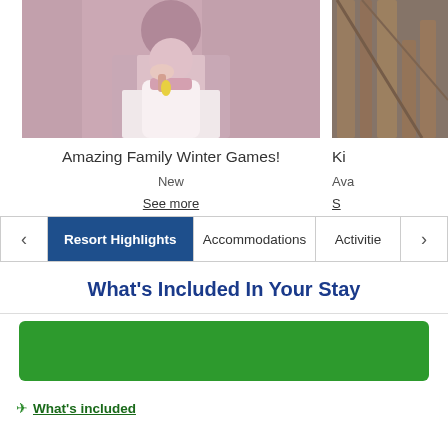[Figure (photo): Photo of a person in a pink/mauve top and white shorts, partial view]
[Figure (photo): Photo of wooden furniture/chair, partial view on the right side]
Amazing Family Winter Games!
Ki
New
Ava
See more
S
Resort Highlights  Accommodations  Activitie
What’s Included In Your Stay
[Figure (other): Green button with white circle overlay reading 'Choose olidays']
What's included